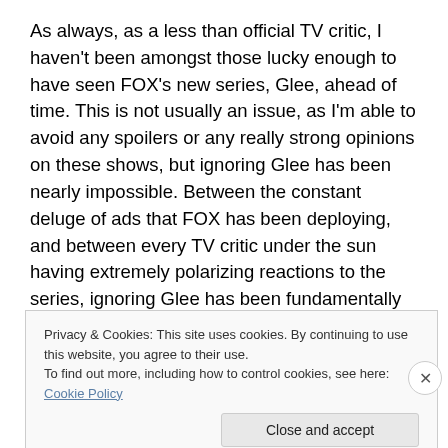As always, as a less than official TV critic, I haven't been amongst those lucky enough to have seen FOX's new series, Glee, ahead of time. This is not usually an issue, as I'm able to avoid any spoilers or any really strong opinions on these shows, but ignoring Glee has been nearly impossible. Between the constant deluge of ads that FOX has been deploying, and between every TV critic under the sun having extremely polarizing reactions to the series, ignoring Glee has been fundamentally impossible. People either love the show or, well, they agree that
Privacy & Cookies: This site uses cookies. By continuing to use this website, you agree to their use.
To find out more, including how to control cookies, see here: Cookie Policy
Close and accept